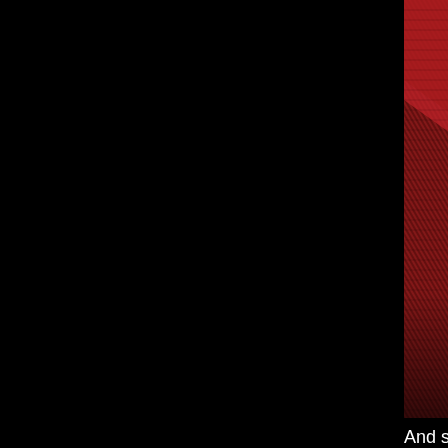[Figure (illustration): Abstract red and dark diagonal striped pattern forming a angled shape on a black background]
And since we're paying a bit too much attention to old things on here as of late I also wanted to post something a bit more contemporary, a track by MRR-ADM (2 San Diego based producers) working with Malcom Catto from the Heliocentrics.